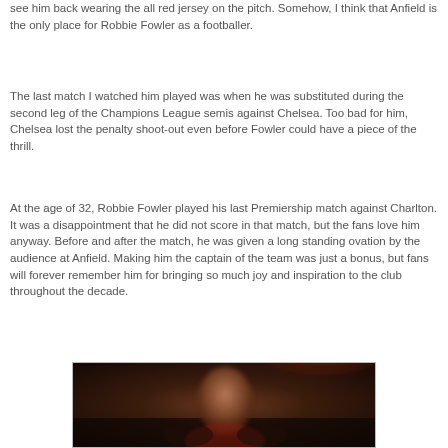see him back wearing the all red jersey on the pitch. Somehow, I think that Anfield is the only place for Robbie Fowler as a footballer.
The last match I watched him played was when he was substituted during the second leg of the Champions League semis against Chelsea. Too bad for him, Chelsea lost the penalty shoot-out even before Fowler could have a piece of the thrill.
At the age of 32, Robbie Fowler played his last Premiership match against Charlton. It was a disappointment that he did not score in that match, but the fans love him anyway. Before and after the match, he was given a long standing ovation by the audience at Anfield. Making him the captain of the team was just a bonus, but fans will forever remember him for bringing so much joy and inspiration to the club throughout the decade.
[Figure (photo): A blurred photograph of a footballer, likely Robbie Fowler, shown from close up with a red background suggesting a stadium or kit.]